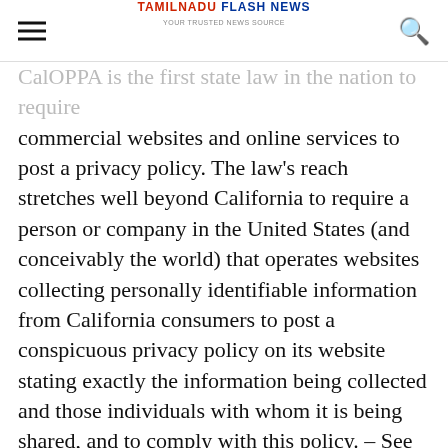TAMILNADU FLASH NEWS
CalOPPA is the first state law in the nation to require commercial websites and online services to post a privacy policy. The law's reach stretches well beyond California to require a person or company in the United States (and conceivably the world) that operates websites collecting personally identifiable information from California consumers to post a conspicuous privacy policy on its website stating exactly the information being collected and those individuals with whom it is being shared, and to comply with this policy. – See more at: http://consumercal.org/california-online-privacy-protection-act-caloppa/#sthash.0FdRbT51.dpuf According to CalOPPA we agree to the following: Users can visit our site anonymously Once this privacy policy is created, we will add a link to it on our home page, or as a minimum on the first significant page after entering our website.